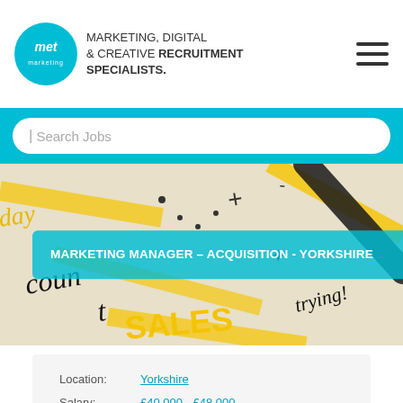[Figure (logo): met marketing logo — circular cyan badge with 'met' text, beside text 'MARKETING, DIGITAL & CREATIVE RECRUITMENT SPECIALISTS.']
[Figure (other): Hamburger menu icon — three horizontal dark lines]
| Search Jobs
[Figure (photo): Close-up photo of handwritten marketing notes on paper with yellow highlighter marks — colourful text including 'count', 'SALES', 'trying']
MARKETING MANAGER – ACQUISITION  -  YORKSHIRE
| Location: | Yorkshire |
| Salary: | £40,000 - £48,000 |